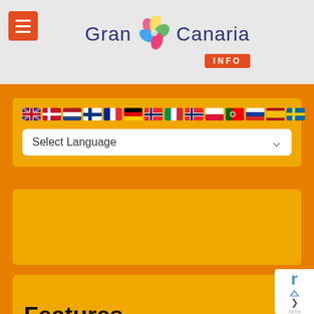Gran Canaria INFO
[Figure (screenshot): Language selector widget with country flags and a 'Select Language' dropdown on orange background]
[Figure (screenshot): Empty amber/yellow content card placeholder on orange background]
Features